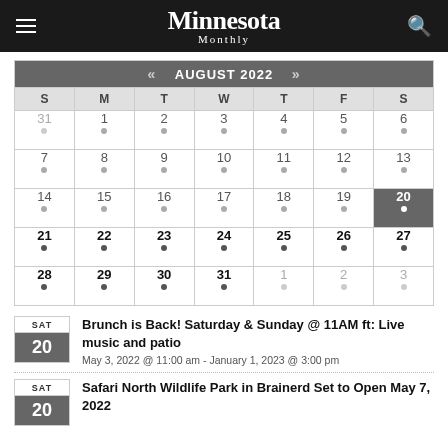Minnesota Monthly
| « | AUGUST 2022 | » |
| --- | --- | --- |
| S | M | T | W | T | F | S |
| 31 | 1 | 2 | 3 | 4 | 5 | 6 |
| 7 | 8 | 9 | 10 | 11 | 12 | 13 |
| 14 | 15 | 16 | 17 | 18 | 19 | 20 |
| 21 | 22 | 23 | 24 | 25 | 26 | 27 |
| 28 | 29 | 30 | 31 | 1 | 2 | 3 |
Brunch is Back! Saturday & Sunday @ 11AM ft: Live music and patio
May 3, 2022 @ 11:00 am - January 1, 2023 @ 3:00 pm
Safari North Wildlife Park in Brainerd Set to Open May 7, 2022